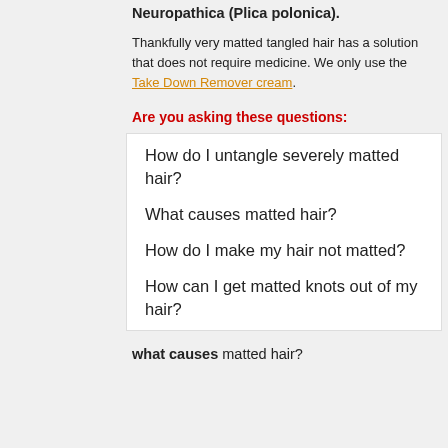Neuropathica (Plica polonica).
Thankfully very matted tangled hair has a solution that does not require medicine. We only use the Take Down Remover cream.
Are you asking these questions:
How do I untangle severely matted hair?
What causes matted hair?
How do I make my hair not matted?
How can I get matted knots out of my hair?
what causes matted hair?